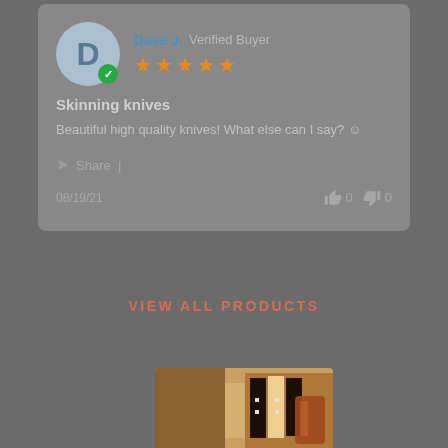Dave J. Verified Buyer
★★★★★
Skinning knives
Beautiful high quality knives! What else can I say? 😊
Share  |
08/19/21   👍 0   👎 0
VIEW ALL PRODUCTS
[Figure (photo): Photo of skinning knives with dark handle scales and brown leather sheath on wooden surface]